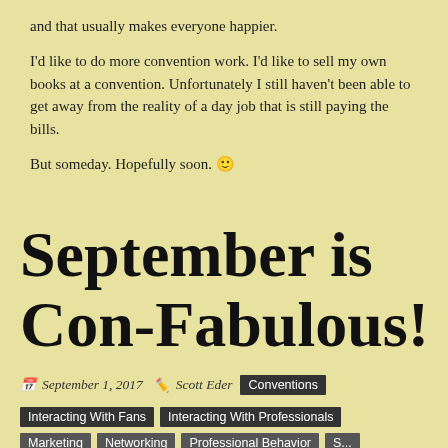and that usually makes everyone happier.
I'd like to do more convention work. I'd like to sell my own books at a convention. Unfortunately I still haven't been able to get away from the reality of a day job that is still paying the bills.
But someday. Hopefully soon. 🙂
September is Con-Fabulous!
September 1, 2017   Scott Eder   Conventions   Interacting With Fans   Interacting With Professionals   Marketing   Networking   Professional Behavior   Conventions